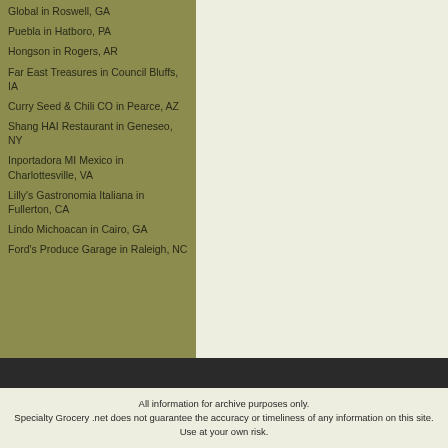Global in Roswell, GA
Puebla in Hatboro, PA
Hongson in Rogers, AR
Far East Treasures in Council Bluffs, IA
Curry Seed & Chili CO in Pearce, AZ
Shang HAI Restaurant in Geneseo, NY
Inportadora MI Mexico in Charlottesville, VA
Lilly's Gastronomia Italiana in Fullerton, CA
Lindo Michoacan in Cairo, GA
Ford's Produce Garage in Raleigh, NC
All information for archive purposes only.
Specialty Grocery .net does not guarantee the accuracy or timeliness of any information on this site.
Use at your own risk.